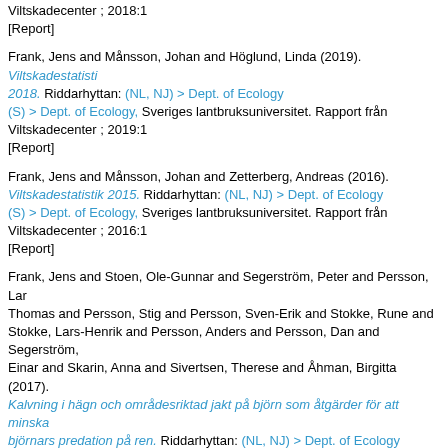Viltskadecenter ; 2018:1
[Report]
Frank, Jens and Månsson, Johan and Höglund, Linda (2019). Viltskadestatistik 2018. Riddarhyttan: (NL, NJ) > Dept. of Ecology (S) > Dept. of Ecology, Sveriges lantbruksuniversitet. Rapport från Viltskadecenter ; 2019:1
[Report]
Frank, Jens and Månsson, Johan and Zetterberg, Andreas (2016). Viltskadestatistik 2015. Riddarhyttan: (NL, NJ) > Dept. of Ecology (S) > Dept. of Ecology, Sveriges lantbruksuniversitet. Rapport från Viltskadecenter ; 2016:1
[Report]
Frank, Jens and Stoen, Ole-Gunnar and Segerström, Peter and Persson, Lars-Thomas and Persson, Stig and Persson, Sven-Erik and Stokke, Rune and Stokke, Lars-Henrik and Persson, Anders and Persson, Dan and Segerström, Einar and Skarin, Anna and Sivertsen, Therese and Åhman, Birgitta (2017). Kalvning i hägn och områdesriktad jakt på björn som åtgärder för att minska björnars predation på ren. Riddarhyttan: (NL, NJ) > Dept. of Ecology (S) > Dept. of Ecology (VH) > Institutionen för husdjurens utfodring och vård, Sveriges lantbruksuniversitet. Rapport från Viltskadecenter ; 2017:7
[Report]
Frank, Jens and Støen, Ole-Gunnar and Segerström, Peter and Stokke, Rune and Persson, Lars-Thomas and Stokke, Lars-Henrik and Persson, Stig and Stokke, NilsAnders and Persson, Anders and Segerström, Einar and Rauset, Geir Rune and Kindberg, Jonas and Bischof, Richard and Sivertsen, Therese Ramberg and Skarin, Anna and Åhman, Birgitta and Ängsteg, Inga and